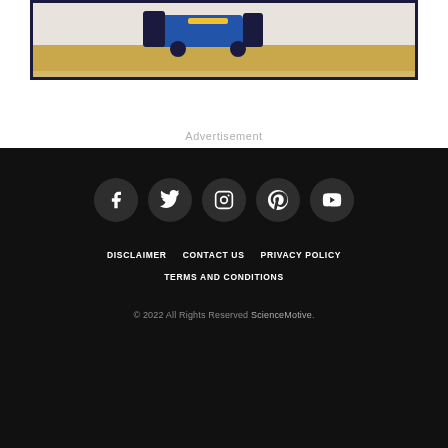[Figure (illustration): Partial illustration of figures in a yellow and blue scene, bordered by a dark navy frame]
Advertisement
[Figure (other): Social media icons: Facebook, Twitter, Instagram, Pinterest, YouTube — white icons on dark circular backgrounds]
DISCLAIMER   CONTACT US   PRIVACY POLICY   TERMS AND CONDITIONS
© 2022 All Rights Reserved ScienceMotive.